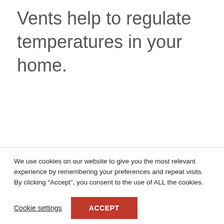Vents help to regulate temperatures in your home.
We use cookies on our website to give you the most relevant experience by remembering your preferences and repeat visits. By clicking “Accept”, you consent to the use of ALL the cookies.
Cookie settings
ACCEPT